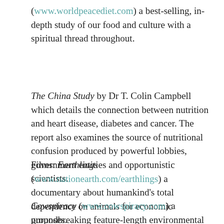(www.worldpeacediet.com) a best-selling, in-depth study of our food and culture with a spiritual thread throughout.
The China Study by Dr T. Colin Campbell which details the connection between nutrition and heart disease, diabetes and cancer. The report also examines the source of nutritional confusion produced by powerful lobbies, government entities and opportunistic scientists.
Films: Earthlings (www.nationearth.com/earthlings) a documentary about humankind's total dependence on animals for economic purposes.
Cowspiracy (www.cowspiracy.com) a groundbreaking feature-length environmental documentary